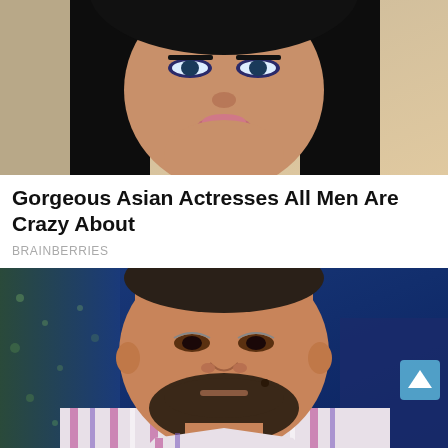[Figure (photo): Close-up photo of a beautiful Asian woman with dark hair, blue eyes, and pink lips against a neutral background.]
Gorgeous Asian Actresses All Men Are Crazy About
BRAINBERRIES
[Figure (photo): Close-up photo of a bearded man (Adam Sandler) wearing a striped shirt, against a blue background.]
A Few Years Ago, Sandler's Career Was Falling Apart